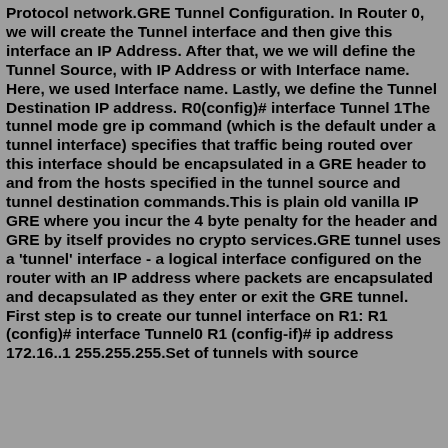Protocol network.GRE Tunnel Configuration. In Router 0, we will create the Tunnel interface and then give this interface an IP Address. After that, we we will define the Tunnel Source, with IP Address or with Interface name. Here, we used Interface name. Lastly, we define the Tunnel Destination IP address. R0(config)# interface Tunnel 1The tunnel mode gre ip command (which is the default under a tunnel interface) specifies that traffic being routed over this interface should be encapsulated in a GRE header to and from the hosts specified in the tunnel source and tunnel destination commands.This is plain old vanilla IP GRE where you incur the 4 byte penalty for the header and GRE by itself provides no crypto services.GRE tunnel uses a 'tunnel' interface - a logical interface configured on the router with an IP address where packets are encapsulated and decapsulated as they enter or exit the GRE tunnel. First step is to create our tunnel interface on R1: R1 (config)# interface Tunnel0 R1 (config-if)# ip address 172.16..1 255.255.255.Set of tunnels with source